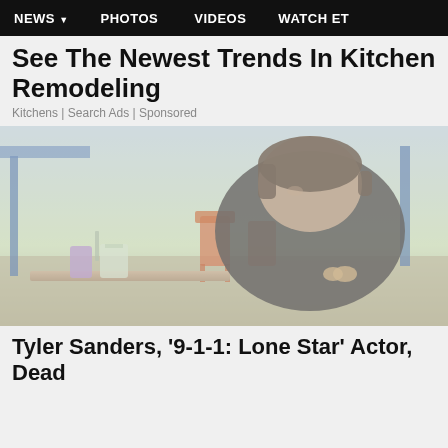NEWS   PHOTOS   VIDEOS   WATCH ET
See The Newest Trends In Kitchen Remodeling
Kitchens | Search Ads | Sponsored
[Figure (photo): Young person with short dark hair wearing a black hoodie, seated at an outdoor table with drinks, sunny background with blue structures]
Tyler Sanders, '9-1-1: Lone Star' Actor, Dead